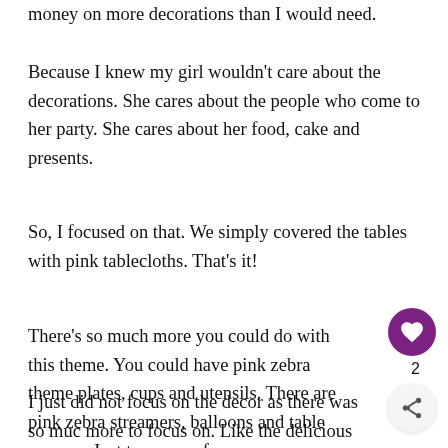money on more decorations than I would need.
Because I knew my girl wouldn’t care about the decorations. She cares about the people who come to her party. She cares about her food, cake and presents.
So, I focused on that. We simply covered the tables with pink tablecloths. That’s it!
There’s so much more you could do with this theme. You could have pink zebra theme plates, cups and utensils. There are pink zebra streamers, balloons and table runners. Just to name a few.
I just did not focus on the decor as there was so much more to focus on. Like the delicious food!